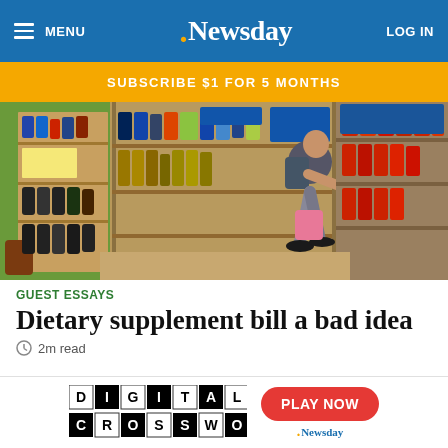MENU | Newsday | LOG IN
SUBSCRIBE $1 FOR 5 MONTHS
[Figure (photo): Person browsing shelves of dietary supplements in a health food store, bending over to examine products on lower shelf. Multiple shelves filled with supplement bottles and jars.]
GUEST ESSAYS
Dietary supplement bill a bad idea
2m read
[Figure (infographic): Digital Crossword promotional banner with checkerboard logo and red Play Now button with Newsday branding]